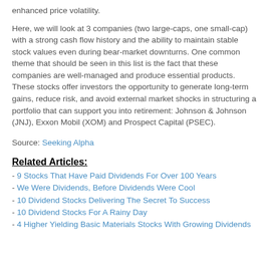enhanced price volatility.
Here, we will look at 3 companies (two large-caps, one small-cap) with a strong cash flow history and the ability to maintain stable stock values even during bear-market downturns. One common theme that should be seen in this list is the fact that these companies are well-managed and produce essential products. These stocks offer investors the opportunity to generate long-term gains, reduce risk, and avoid external market shocks in structuring a portfolio that can support you into retirement: Johnson & Johnson (JNJ), Exxon Mobil (XOM) and Prospect Capital (PSEC).
Source: Seeking Alpha
Related Articles:
- 9 Stocks That Have Paid Dividends For Over 100 Years
- We Were Dividends, Before Dividends Were Cool
- 10 Dividend Stocks Delivering The Secret To Success
- 10 Dividend Stocks For A Rainy Day
- 4 Higher Yielding Basic Materials Stocks With Growing Dividends